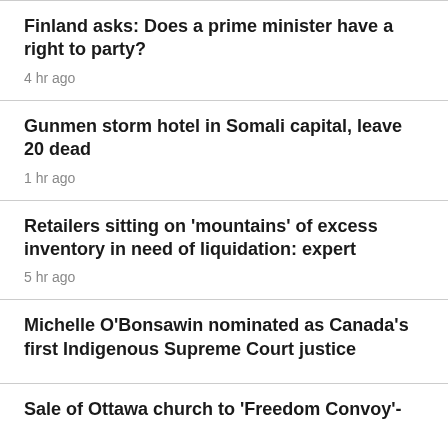Finland asks: Does a prime minister have a right to party?
4 hr ago
Gunmen storm hotel in Somali capital, leave 20 dead
1 hr ago
Retailers sitting on 'mountains' of excess inventory in need of liquidation: expert
5 hr ago
Michelle O'Bonsawin nominated as Canada's first Indigenous Supreme Court justice
Sale of Ottawa church to 'Freedom Convoy'-